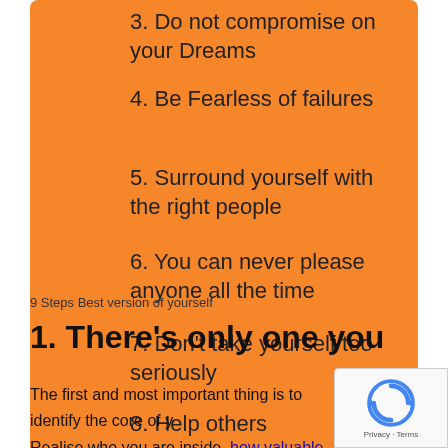3. Do not compromise on your Dreams
4. Be Fearless of failures
5. Surround yourself with the right people
6. You can never please anyone all the time
7. Don't take yourself too seriously
8. Help others
9. Never forget your roots
9 Steps Best version of yourself
1. There's only one you
The first and most important thing is to identify the core of y... Realise who you are inside, how valuable you are, your be... skills and flaws, and what is the real value of your life. Once you